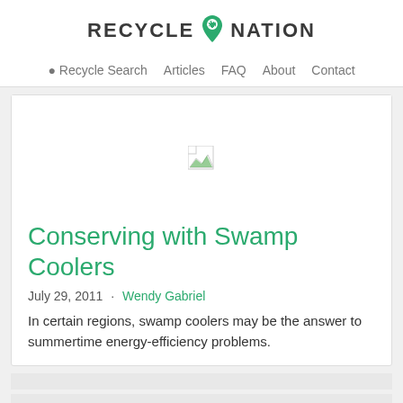RECYCLE NATION
Recycle Search   Articles   FAQ   About   Contact
[Figure (other): Broken/missing image placeholder thumbnail]
Conserving with Swamp Coolers
July 29, 2011  ·  Wendy Gabriel
In certain regions, swamp coolers may be the answer to summertime energy-efficiency problems.